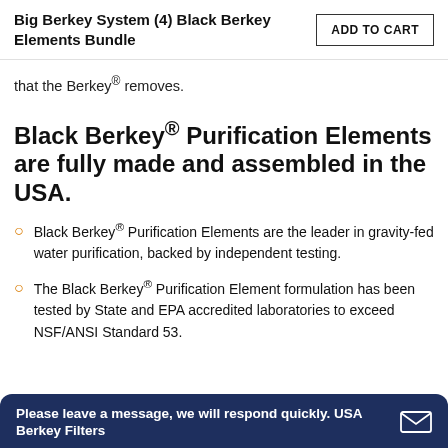Big Berkey System (4) Black Berkey Elements Bundle
that the Berkey® removes.
Black Berkey® Purification Elements are fully made and assembled in the USA.
Black Berkey® Purification Elements are the leader in gravity-fed water purification, backed by independent testing.
The Black Berkey® Purification Element formulation has been tested by State and EPA accredited laboratories to exceed NSF/ANSI Standard 53.
Please leave a message, we will respond quickly. USA Berkey Filters